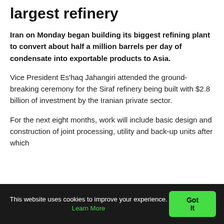largest refinery
Iran on Monday began building its biggest refining plant to convert about half a million barrels per day of condensate into exportable products to Asia.
Vice President Es'haq Jahangiri attended the ground-breaking ceremony for the Siraf refinery being built with $2.8 billion of investment by the Iranian private sector.
For the next eight months, work will include basic design and construction of joint processing, utility and back-up units after which
This website uses cookies to improve your experience. Learn More  Got It